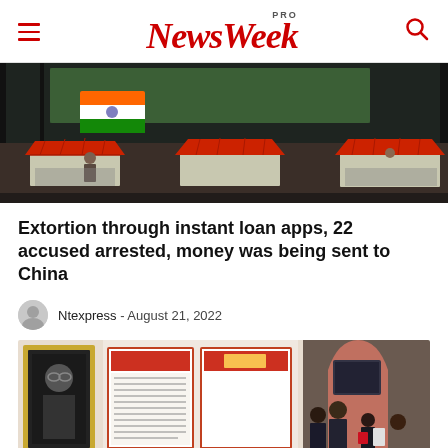NewsWeek PRO
[Figure (photo): Exterior street scene with market stalls or ticket booths with red roofs, dark fencing/scaffolding with green shade cloth, and an Indian tricolor flag-colored banner in background]
Extortion through instant loan apps, 22 accused arrested, money was being sent to China
Ntexpress - August 21, 2022
[Figure (photo): Indoor exhibition or museum display with framed portraits and informational poster panels on walls, group of young students/visitors looking at the exhibits, brick archway visible on right side]